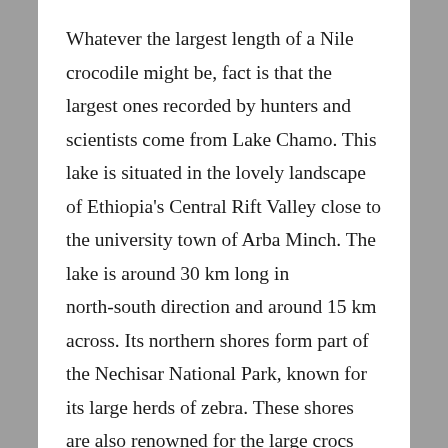Whatever the largest length of a Nile crocodile might be, fact is that the largest ones recorded by hunters and scientists come from Lake Chamo. This lake is situated in the lovely landscape of Ethiopia's Central Rift Valley close to the university town of Arba Minch. The lake is around 30 km long in north-south direction and around 15 km across. Its northern shores form part of the Nechisar National Park, known for its large herds of zebra. These shores are also renowned for the large crocs that tourists can observe at the so called crocodile market, a sandy piece of shore where the huge saurians like to bask in the sun. The park can be easily reached by road and plane, hence visitor numbers are rising.